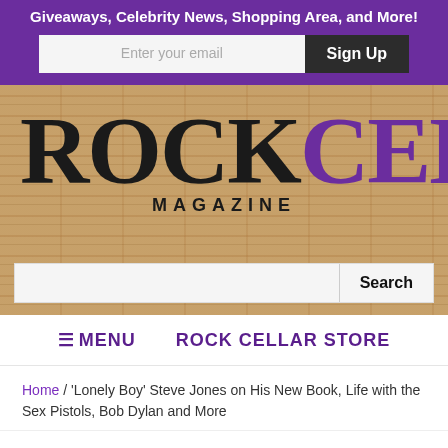Giveaways, Celebrity News, Shopping Area, and More!
[Figure (screenshot): Rock Cellar Magazine website header with logo on brick background and search bar]
≡ MENU   ROCK CELLAR STORE
Home / 'Lonely Boy' Steve Jones on His New Book, Life with the Sex Pistols, Bob Dylan and More
'Lonely Boy' Steve